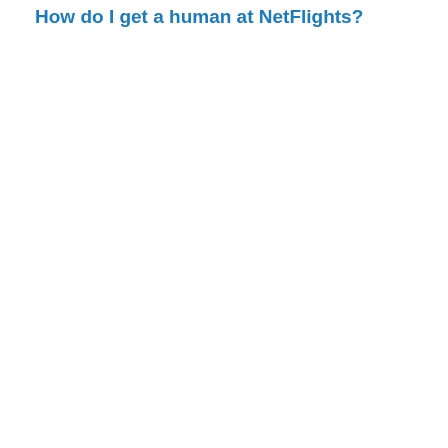How do I get a human at NetFlights?